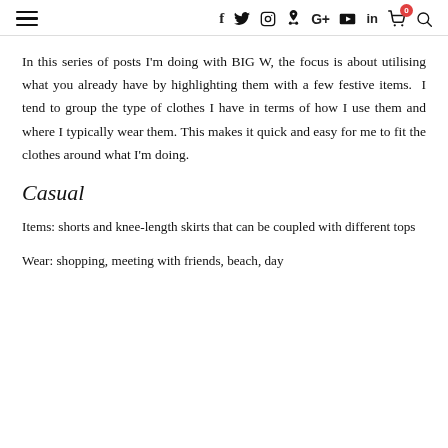≡  f  ✓  ◎  ⊕  G+  ▶  in  🛒⁰  🔍
In this series of posts I'm doing with BIG W, the focus is about utilising what you already have by highlighting them with a few festive items. I tend to group the type of clothes I have in terms of how I use them and where I typically wear them. This makes it quick and easy for me to fit the clothes around what I'm doing.
Casual
Items: shorts and knee-length skirts that can be coupled with different tops
Wear: shopping, meeting with friends, beach, day